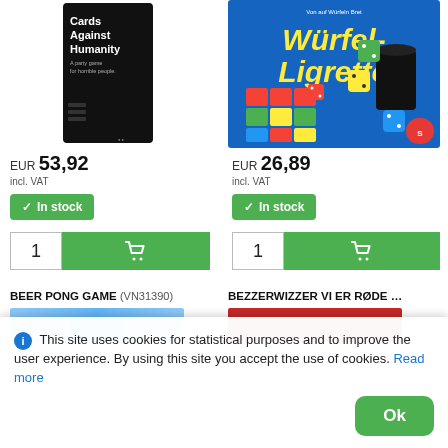[Figure (photo): Cards Against Humanity box — black box with white text showing title and subtitle 'A party game for horrible people']
EUR 53,92
incl. VAT
In stock
[Figure (photo): Würfel-Ligretto board game box — colorful box with dice and game board depicted, blue background]
EUR 26,89
incl. VAT
In stock
BEER PONG GAME (VN31390)
BEZZERWIZZER VI ER RØDE …
This site uses cookies for statistical purposes and to improve the user experience. By using this site you accept the use of cookies. Read more